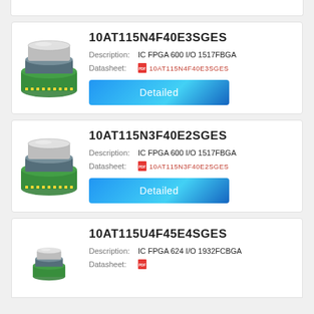10AT115N4F40E3SGES
Description: IC FPGA 600 I/O 1517FBGA
Datasheet: 10AT115N4F40E3SGES
Detailed
10AT115N3F40E2SGES
Description: IC FPGA 600 I/O 1517FBGA
Datasheet: 10AT115N3F40E2SGES
Detailed
10AT115U4F45E4SGES
Description: IC FPGA 624 I/O 1932FCBGA
Datasheet: